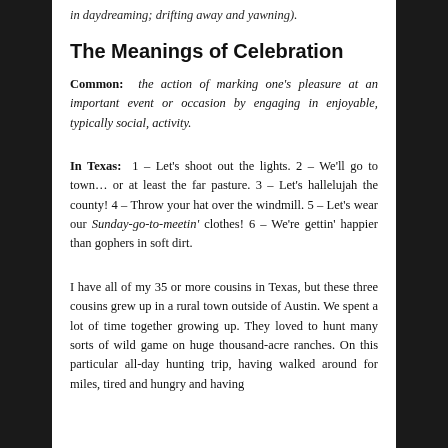in daydreaming; drifting away and yawning).
The Meanings of Celebration
Common: the action of marking one's pleasure at an important event or occasion by engaging in enjoyable, typically social, activity.
In Texas: 1 – Let's shoot out the lights. 2 – We'll go to town... or at least the far pasture. 3 – Let's hallelujah the county! 4 – Throw your hat over the windmill. 5 – Let's wear our Sunday-go-to-meetin' clothes! 6 – We're gettin' happier than gophers in soft dirt.
I have all of my 35 or more cousins in Texas, but these three cousins grew up in a rural town outside of Austin. We spent a lot of time together growing up. They loved to hunt many sorts of wild game on huge thousand-acre ranches. On this particular all-day hunting trip, having walked around for miles, tired and hungry and having